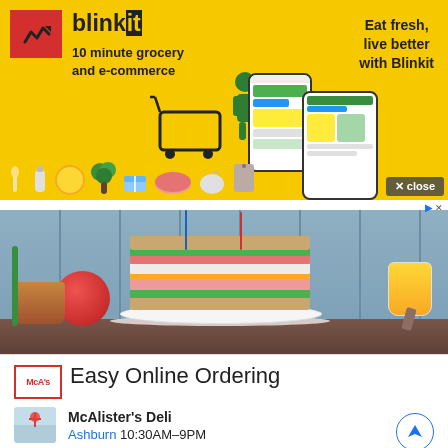[Figure (illustration): Blinkit grocery delivery advertisement banner with yellow background, red logo box with arrow icon, 'blinkit' branding text, '10 minute grocery and e-commerce' subtitle, 'Eat fresh, live better with Blinkit' tagline, shopping cart illustration with person, phone mockup, grocery food icons row along the bottom, and close button]
[Figure (photo): McAlister's Deli advertisement photo showing a large stacked club sandwich with multiple layers of meat, vegetables, cheese on a white plate, with a tomato, bowl, and jar of mustard in the background against a blue wooden plank wall. Includes a small 'D>' ad indicator icon in top right.]
Easy Online Ordering
McAlister's Deli
Ashburn 10:30AM–9PM